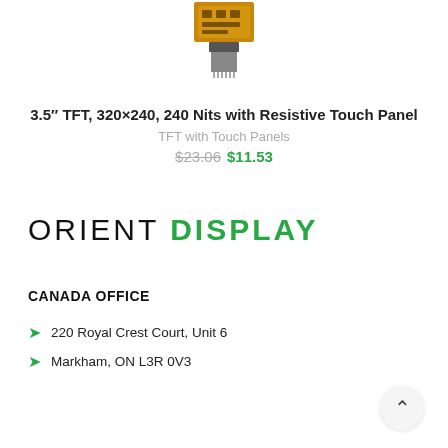[Figure (photo): Product photo of a TFT display module with flex cable connector, shown partially at top of page]
3.5″ TFT, 320×240, 240 Nits with Resistive Touch Panel
TFT with Touch Panels
$23.06 $11.53
[Figure (logo): Orient Display logo — ORIENT in black, DISPLAY in green, large spaced lettering]
CANADA OFFICE
220 Royal Crest Court, Unit 6
Markham, ON L3R 0V3